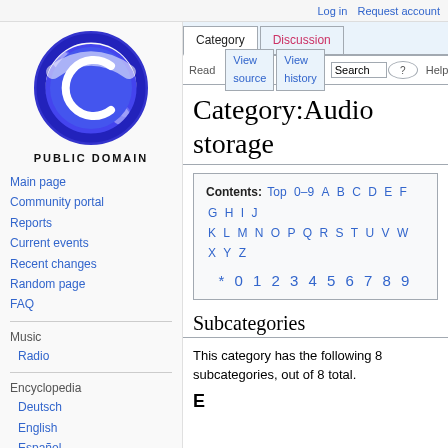Log in  Request account
[Figure (logo): Public Domain logo: circular blue/purple emblem with stylized C and swoosh, text PUBLIC DOMAIN below]
Main page
Community portal
Reports
Current events
Recent changes
Random page
FAQ
Music
Radio
Encyclopedia
Deutsch
English
Español
Category:Audio storage
Contents: Top 0–9 A B C D E F G H I J K L M N O P Q R S T U V W X Y Z
* 0 1 2 3 4 5 6 7 8 9
Subcategories
This category has the following 8 subcategories, out of 8 total.
E